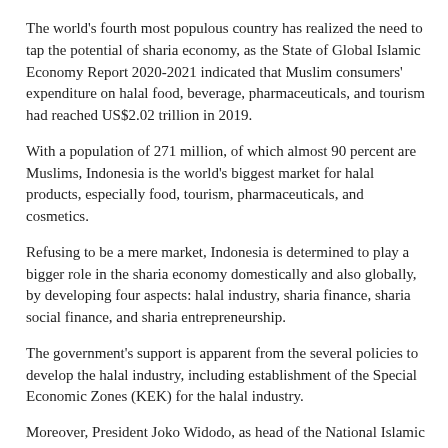The world's fourth most populous country has realized the need to tap the potential of sharia economy, as the State of Global Islamic Economy Report 2020-2021 indicated that Muslim consumers' expenditure on halal food, beverage, pharmaceuticals, and tourism had reached US$2.02 trillion in 2019.
With a population of 271 million, of which almost 90 percent are Muslims, Indonesia is the world's biggest market for halal products, especially food, tourism, pharmaceuticals, and cosmetics.
Refusing to be a mere market, Indonesia is determined to play a bigger role in the sharia economy domestically and also globally, by developing four aspects: halal industry, sharia finance, sharia social finance, and sharia entrepreneurship.
The government's support is apparent from the several policies to develop the halal industry, including establishment of the Special Economic Zones (KEK) for the halal industry.
Moreover, President Joko Widodo, as head of the National Islamic Finance Committee (KNKS), had launched the Indonesian Islamic Economics Master Plan (MEKSI) 2019-2024 in May 2019, which is the country's first road map for Islamic economy that aims to strengthen the national economy.